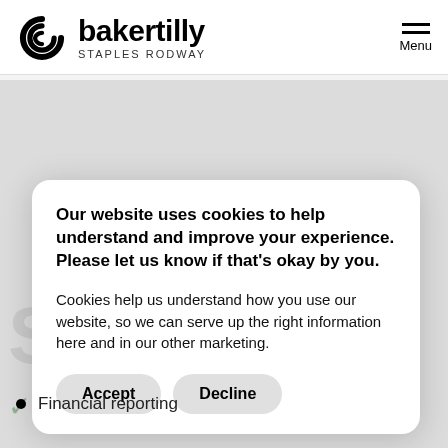[Figure (logo): Baker Tilly Staples Rodway logo with spiral icon on left and text 'bakertilly' in bold, 'STAPLES RODWAY' below]
Our website uses cookies to help understand and improve your experience. Please let us know if that's okay by you.
Cookies help us understand how you use our website, so we can serve up the right information here and in our other marketing.
Accept
Decline
Financial reporting